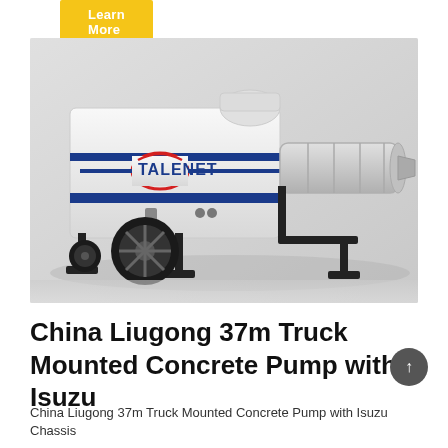Learn More
[Figure (photo): White Talenet-branded concrete pump trailer with mixer attachment, shown on a light grey studio background. The machine has a large black wheel, outrigger legs, and a long horizontal auger/mixer drum extending to the right.]
China Liugong 37m Truck Mounted Concrete Pump with Isuzu
China Liugong 37m Truck Mounted Concrete Pump with Isuzu Chassis